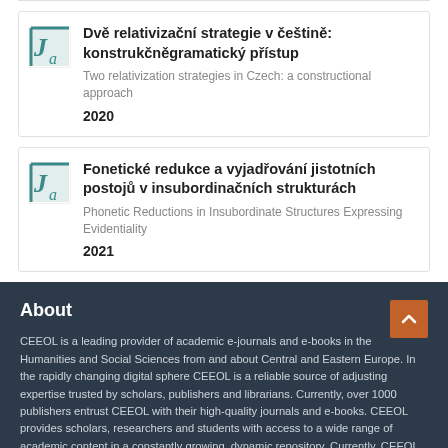Dvě relativizační strategie v češtině: konstrukčněgramatický přístup — Two relativization strategies in Czech: a constructional approach — 2020
Fonetické redukce a vyjadřování jistotních postojů v insubordinačních strukturách — Phonetic Reductions in Insubordinate Structures Expressing Evidentiality — 2021
About
CEEOL is a leading provider of academic e-journals and e-books in the Humanities and Social Sciences from and about Central and Eastern Europe. In the rapidly changing digital sphere CEEOL is a reliable source of adjusting expertise trusted by scholars, publishers and librarians. Currently, over 1000 publishers entrust CEEOL with their high-quality journals and e-books. CEEOL provides scholars, researchers and students with access to a wide range of academic content in a constantly growing, dynamic repository. Currently, CEEOL covers more than 2000 journals and 690,000 articles; over 4500